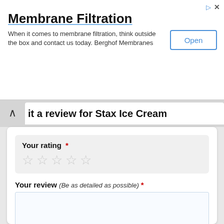[Figure (screenshot): Advertisement banner for Membrane Filtration by Berghof Membranes with an Open button]
it a review for Stax Ice Cream
Your rating *
Your review (Be as detailed as possible) *
(100 Character minimum)
I certify that this review is based on my own experience and that I am in no way affiliated with this business, and have not been offered any incentive or payment from the business to write this review. I agree to Businessyab.com Terms & Conditions, including to not write false reviews, which is in many cases against the law.